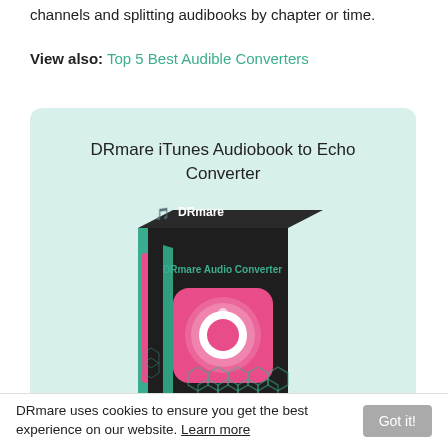channels and splitting audibooks by chapter or time.
View also: Top 5 Best Audible Converters
[Figure (illustration): Product box for DRmare Audio Converter on a light mint green card background, with the title 'DRmare iTunes Audiobook to Echo Converter' above it.]
DRmare uses cookies to ensure you get the best experience on our website. Learn more  Got it!